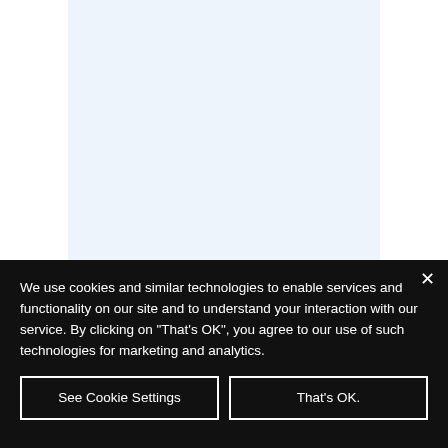[Figure (screenshot): Light blue rectangular area on white background, representing a webpage or app interface area behind a cookie consent dialog.]
We use cookies and similar technologies to enable services and functionality on our site and to understand your interaction with our service. By clicking on "That's OK", you agree to our use of such technologies for marketing and analytics.
See Cookie Settings
That's OK.